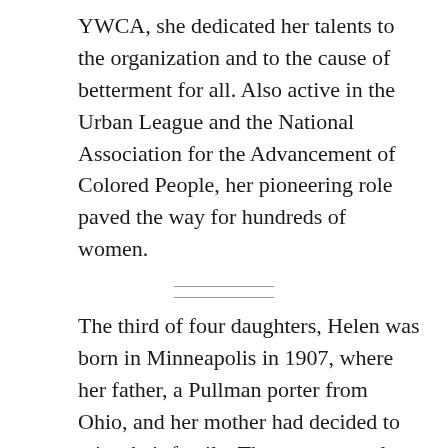YWCA, she dedicated her talents to the organization and to the cause of betterment for all. Also active in the Urban League and the National Association for the Advancement of Colored People, her pioneering role paved the way for hundreds of women.
The third of four daughters, Helen was born in Minneapolis in 1907, where her father, a Pullman porter from Ohio, and her mother had decided to raise their family. The young couple had met during one of his train runs, when Helen's mother